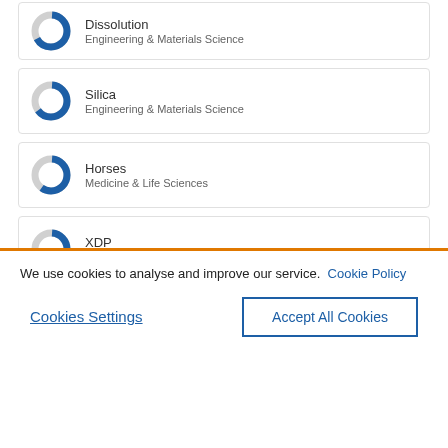Dissolution — Engineering & Materials Science
Silica — Engineering & Materials Science
Horses — Medicine & Life Sciences
XDP — Chemistry
Excipient
We use cookies to analyse and improve our service. Cookie Policy
Cookies Settings
Accept All Cookies